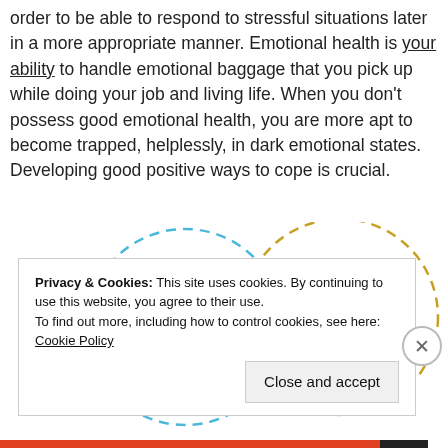order to be able to respond to stressful situations later in a more appropriate manner. Emotional health is your ability to handle emotional baggage that you pick up while doing your job and living life. When you don't possess good emotional health, you are more apt to become trapped, helplessly, in dark emotional states. Developing good positive ways to cope is crucial.
[Figure (infographic): Venn-style diagram showing overlapping circles labeled Physical and Emotional with dashed outer circles, and a small purple shape at intersection]
Privacy & Cookies: This site uses cookies. By continuing to use this website, you agree to their use. To find out more, including how to control cookies, see here: Cookie Policy
Close and accept